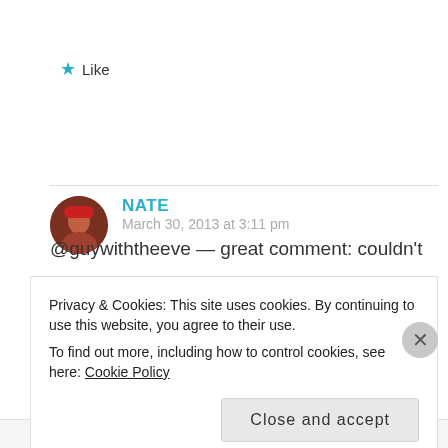★ Like
NATE
March 30, 2013 at 3:11 pm
@guywiththeeve — great comment: couldn't
Privacy & Cookies: This site uses cookies. By continuing to use this website, you agree to their use.
To find out more, including how to control cookies, see here: Cookie Policy
Close and accept